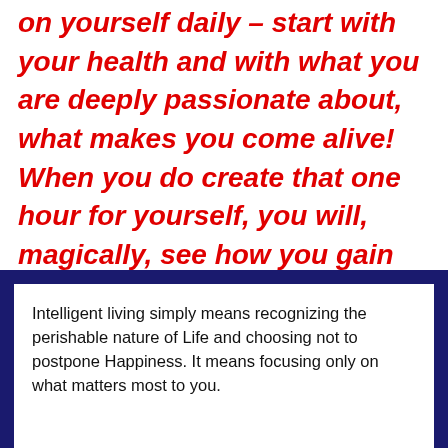on yourself daily – start with your health and with what you are deeply passionate about, what makes you come alive! When you do create that one hour for yourself, you will, magically, see how you gain control of the remaining 23 hours of the day!
Intelligent living simply means recognizing the perishable nature of Life and choosing not to postpone Happiness. It means focusing only on what matters most to you.